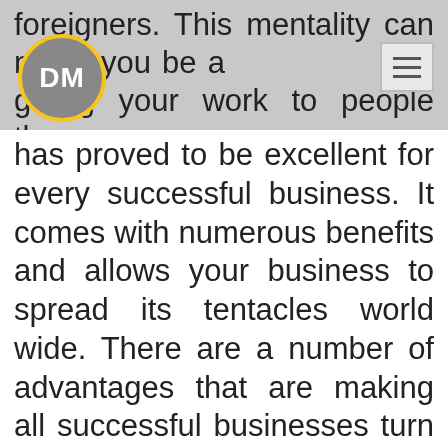foreigners. This mentality can make you be afraid giving your work to people that you do not know; but in the last few decades, it
has proved to be excellent for every successful business. It comes with numerous benefits and allows your business to spread its tentacles world wide. There are a number of advantages that are making all successful businesses turn to outsourced services. it ensures that your business can withstand competition and stay in business during all seasons. Modern technology has made it easier for many businesses to find services from other companies for fee.